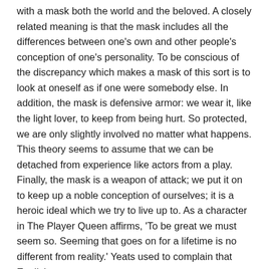with a mask both the world and the beloved. A closely related meaning is that the mask includes all the differences between one's own and other people's conception of one's personality. To be conscious of the discrepancy which makes a mask of this sort is to look at oneself as if one were somebody else. In addition, the mask is defensive armor: we wear it, like the light lover, to keep from being hurt. So protected, we are only slightly involved no matter what happens. This theory seems to assume that we can be detached from experience like actors from a play. Finally, the mask is a weapon of attack; we put it on to keep up a noble conception of ourselves; it is a heroic ideal which we try to live up to. As a character in The Player Queen affirms, 'To be great we must seem so. Seeming that goes on for a lifetime is no different from reality.' Yeats used to complain that English